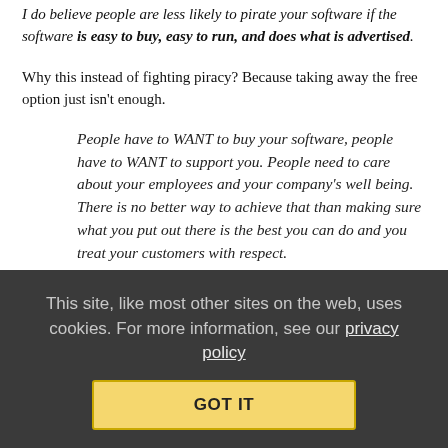I do believe people are less likely to pirate your software if the software is easy to buy, easy to run, and does what is advertised.
Why this instead of fighting piracy? Because taking away the free option just isn't enough.
People have to WANT to buy your software, people have to WANT to support you. People need to care about your employees and your company's well being. There is no better way to achieve that than making sure what you put out there is the best you can do and you treat your customers with respect.
EA clearly has little respect for its customers. The frontmouth of Maxis, whether using her own words or having them supplied from higher up, proved this with a week of complete denialism. There was
This site, like most other sites on the web, uses cookies. For more information, see our privacy policy
GOT IT